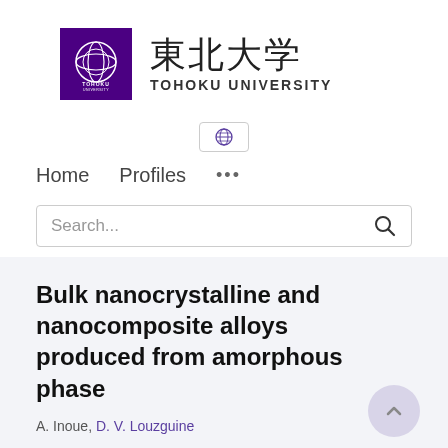[Figure (logo): Tohoku University logo: purple square with white circular emblem and TOHOKU UNIVERSITY text, followed by kanji characters 東北大学 and TOHOKU UNIVERSITY in English]
[Figure (other): Globe/language selector button icon]
Home   Profiles   ...
Search...
Bulk nanocrystalline and nanocomposite alloys produced from amorphous phase
A. Inoue, D. V. Louzguine